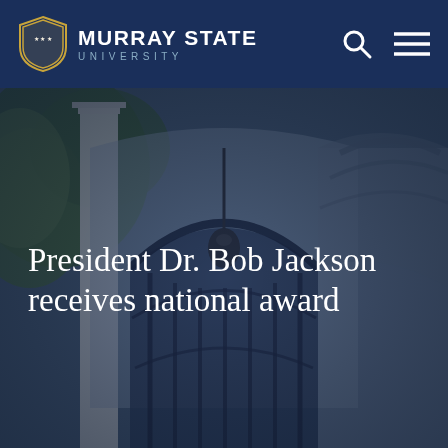MURRAY STATE UNIVERSITY
[Figure (photo): Architectural photo of Murray State University building featuring a large arched entrance with ornate iron gates, white columns, and green trees, overlaid with a dark navy tint]
President Dr. Bob Jackson receives national award
IN THIS SECTION